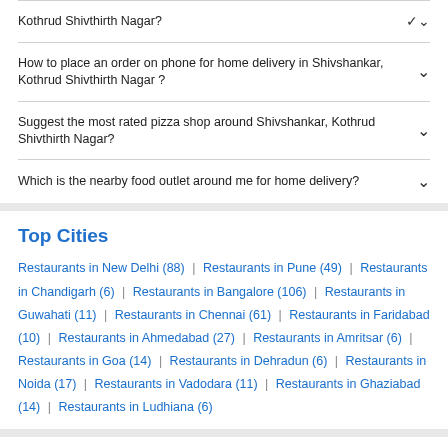Kothrud Shivthirth Nagar?
How to place an order on phone for home delivery in Shivshankar, Kothrud Shivthirth Nagar ?
Suggest the most rated pizza shop around Shivshankar, Kothrud Shivthirth Nagar?
Which is the nearby food outlet around me for home delivery?
Top Cities
Restaurants in New Delhi (88) | Restaurants in Pune (49) | Restaurants in Chandigarh (6) | Restaurants in Bangalore (106) | Restaurants in Guwahati (11) | Restaurants in Chennai (61) | Restaurants in Faridabad (10) | Restaurants in Ahmedabad (27) | Restaurants in Amritsar (6) | Restaurants in Goa (14) | Restaurants in Dehradun (6) | Restaurants in Noida (17) | Restaurants in Vadodara (11) | Restaurants in Ghaziabad (14) | Restaurants in Ludhiana (6)